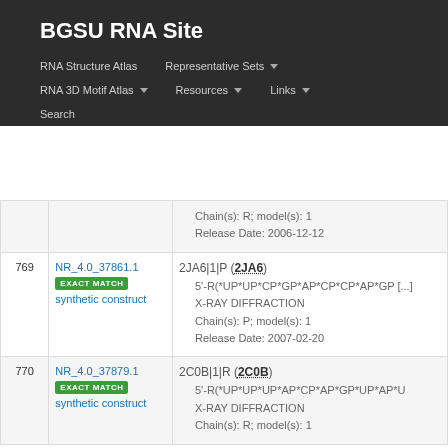BGSU RNA Site
RNA Structure Atlas | Representative Sets | RNA 3D Motif Atlas | Resources | Links | Search
| # | ID | Info |
| --- | --- | --- |
|  |  | Chain(s): R; model(s): 1 | Release Date: 2006-12-12 |
| 769 | NR_4.0_37861.1 EXACT MATCH synthetic construct | 2JA6|1|P (2JA6) • 5'-R(*UP*UP*CP*GP*AP*CP*CP*AP*GP [...] • X-RAY DIFFRACTION • Chain(s): P; model(s): 1 • Release Date: 2007-02-20 |
| 770 | NR_4.0_37879.1 EXACT MATCH synthetic construct | 2C0B|1|R (2C0B) • 5'-R(*UP*UP*UP*AP*CP*AP*GP*UP*AP*U • X-RAY DIFFRACTION • Chain(s): R; model(s): 1 |